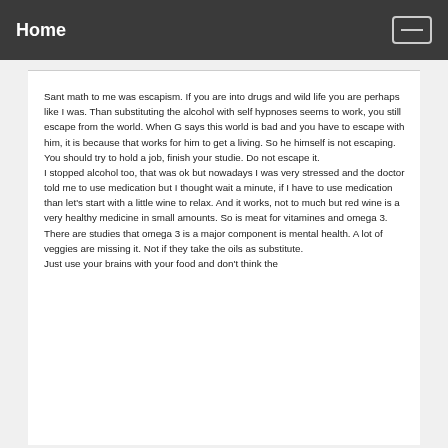Home
Sant math to me was escapism. If you are into drugs and wild life you are perhaps like I was. Than substituting the alcohol with self hypnoses seems to work, you still escape from the world. When G says this world is bad and you have to escape with him, it is because that works for him to get a living. So he himself is not escaping. You should try to hold a job, finish your studie. Do not escape it.
I stopped alcohol too, that was ok but nowadays I was very stressed and the doctor told me to use medication but I thought wait a minute, if I have to use medication than let's start with a little wine to relax. And it works, not to much but red wine is a very healthy medicine in small amounts. So is meat for vitamines and omega 3. There are studies that omega 3 is a major component is mental health. A lot of veggies are missing it. Not if they take the oils as substitute.
Just use your brains with your food and don't think the